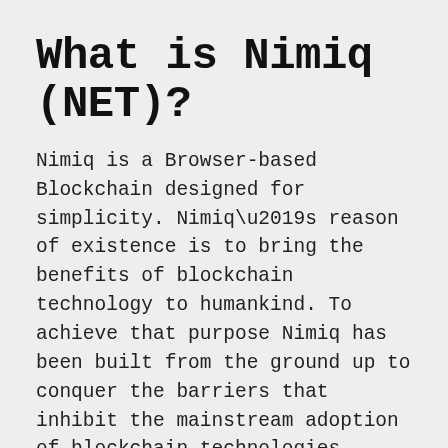What is Nimiq (NET)?
Nimiq is a Browser-based Blockchain designed for simplicity. Nimiq’s reason of existence is to bring the benefits of blockchain technology to humankind. To achieve that purpose Nimiq has been built from the ground up to conquer the barriers that inhibit the mainstream adoption of blockchain technologies. Nimiq is encompassed by a strong philanthropic mindset, it will always remain open-source and community-driven.